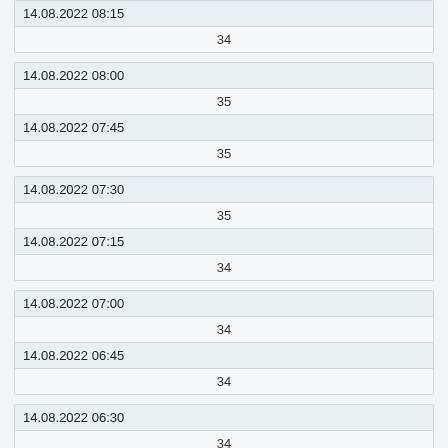| datetime | value |
| --- | --- |
| 14.08.2022 08:15 | 34 |
| datetime | value |
| --- | --- |
| 14.08.2022 08:00 | 35 |
| 14.08.2022 07:45 | 35 |
| datetime | value |
| --- | --- |
| 14.08.2022 07:30 | 35 |
| 14.08.2022 07:15 | 34 |
| datetime | value |
| --- | --- |
| 14.08.2022 07:00 | 34 |
| 14.08.2022 06:45 | 34 |
| datetime | value |
| --- | --- |
| 14.08.2022 06:30 | 34 |